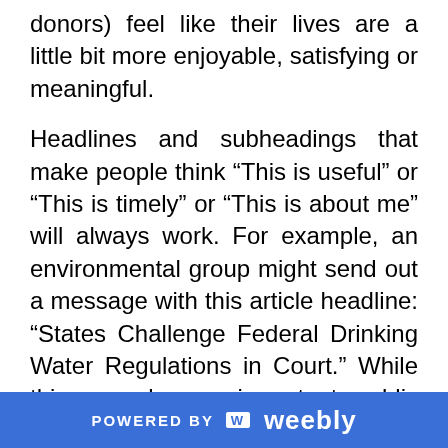donors) feel like their lives are a little bit more enjoyable, satisfying or meaningful.
Headlines and subheadings that make people think “This is useful” or “This is timely” or “This is about me” will always work. For example, an environmental group might send out a message with this article headline: “States Challenge Federal Drinking Water Regulations in Court.” While this may be an important public policy issue, the headline doesn’t sound very personal or relevant to an individual. But something like “Is Slightly Dirtier Drinking Water OK with You?” would get some attention, because that personal relevance is now right there in the headline.
POWERED BY weebly